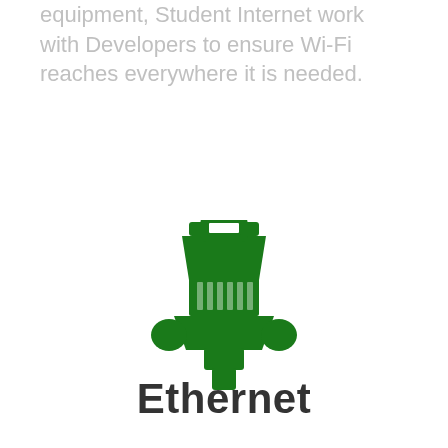equipment, Student Internet work with Developers to ensure Wi-Fi reaches everywhere it is needed.
[Figure (illustration): Green Ethernet cable connector (RJ45 plug) icon displayed as a simple flat icon in dark green color on white background.]
Ethernet